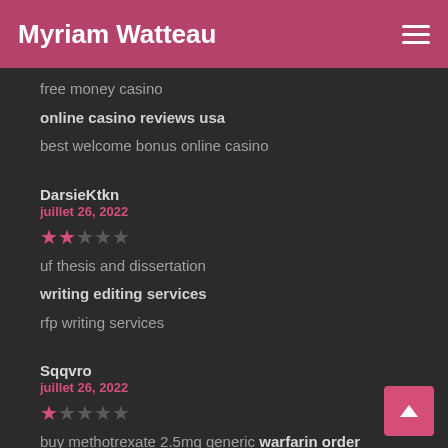Myriam Watteau
free money casino
online casino reviews usa
best welcome bonus online casino
DarsieKtkn
juillet 26, 2022
[Figure (other): 2 out of 5 stars rating]
uf thesis and dissertation
writing editing services
rfp writing services
Sqqvro
juillet 26, 2022
[Figure (other): 1 out of 5 stars rating]
buy methotrexate 2.5mg generic warfarin order
metoclopramide 10mg pills